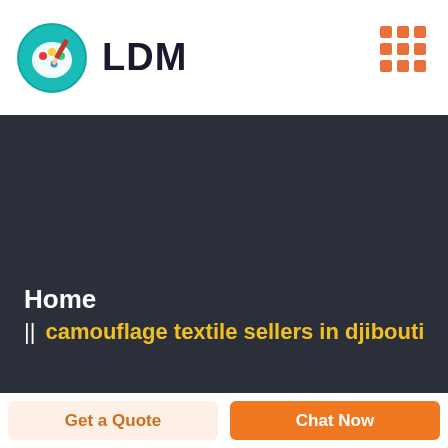[Figure (logo): LDM logo with colorful paint palette circle icon and bold 'LDM' text]
[Figure (other): 3x3 orange dot grid icon in top right corner]
Home
|| camouflage textile sellers in djibouti
Get a Quote
Chat Now